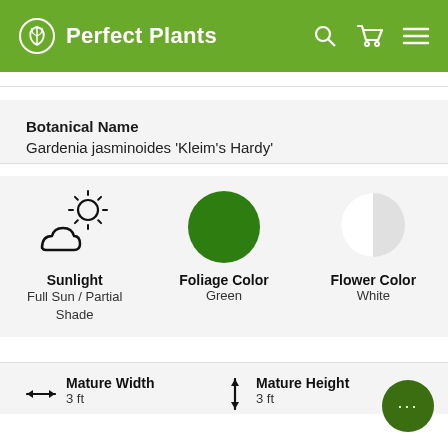Perfect Plants
Botanical Name
Gardenia jasminoides 'Kleim's Hardy'
[Figure (infographic): Three plant trait icons: Sunlight (partly cloudy/sun icon) - Full Sun / Partial Shade; Foliage Color (green circle) - Green; Flower Color (half-gray circle) - White]
Mature Width 3 ft
Mature Height 3 ft